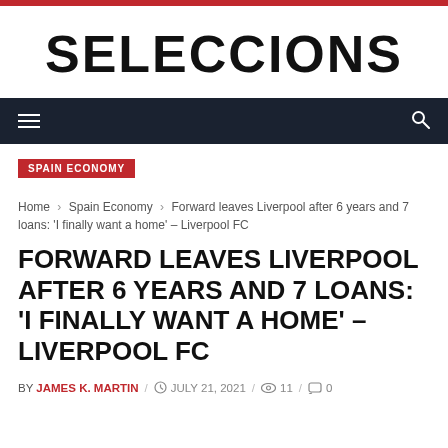SELECCIONS
SPAIN ECONOMY
Home › Spain Economy › Forward leaves Liverpool after 6 years and 7 loans: 'I finally want a home' – Liverpool FC
FORWARD LEAVES LIVERPOOL AFTER 6 YEARS AND 7 LOANS: 'I FINALLY WANT A HOME' – LIVERPOOL FC
BY JAMES K. MARTIN / JULY 21, 2021 / 11 / 0